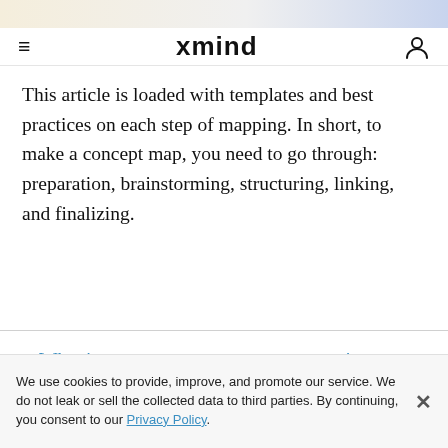xmind
This article is loaded with templates and best practices on each step of mapping. In short, to make a concept map, you need to go through: preparation, brainstorming, structuring, linking, and finalizing.
What is concept maps or concept mapping
Differences between concept maps and other graphic organizers
We use cookies to provide, improve, and promote our service. We do not leak or sell the collected data to third parties. By continuing, you consent to our Privacy Policy.